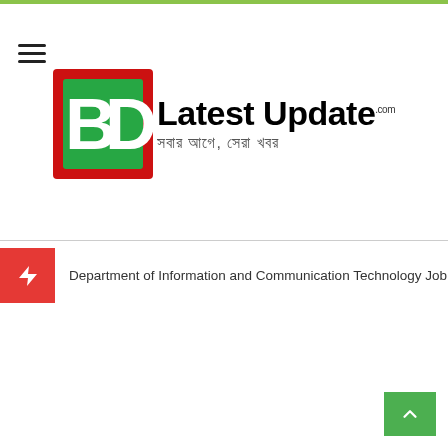[Figure (logo): BD Latest Update logo with red/green BD icon and text 'Latest Update' with Bengali subtitle 'সবার আগে, সেরা খবর']
Department of Information and Communication Technology Job Circular 2022